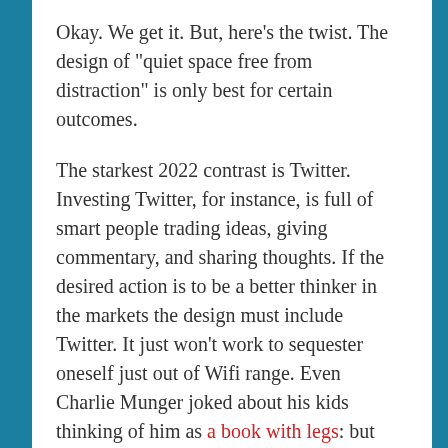Okay. We get it. But, here's the twist. The design of "quiet space free from distraction" is only best for certain outcomes.
The starkest 2022 contrast is Twitter. Investing Twitter, for instance, is full of smart people trading ideas, giving commentary, and sharing thoughts. If the desired action is to be a better thinker in the markets the design must include Twitter. It just won't work to sequester oneself just out of Wifi range. Even Charlie Munger joked about his kids thinking of him as a book with legs: but the book now is the timeline. Similar if the goal is public policy the design must include advocation. If the goal is sales the design must include talking to customers (and finding the JTBD).